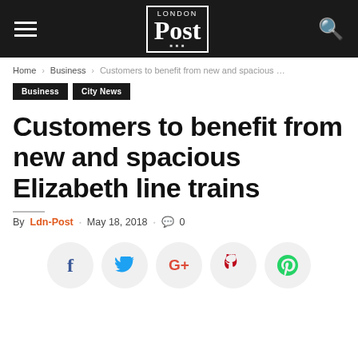London Post — navigation header with hamburger menu, logo, and search icon
Home › Business › Customers to benefit from new and spacious …
Business  City News
Customers to benefit from new and spacious Elizabeth line trains
By Ldn-Post · May 18, 2018 · 💬 0
[Figure (infographic): Social share buttons: Facebook, Twitter, Google+, Pinterest, WhatsApp]